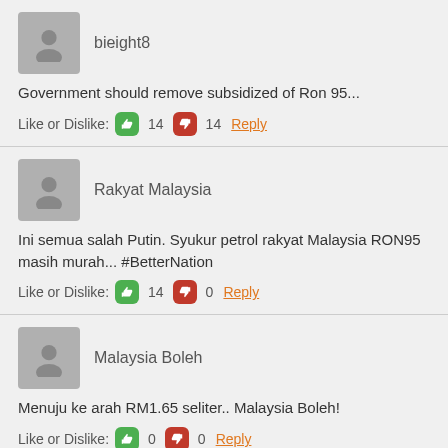bieight8
Government should remove subsidized of Ron 95...
Like or Dislike: 14 14 Reply
Rakyat Malaysia
Ini semua salah Putin. Syukur petrol rakyat Malaysia RON95 masih murah... #BetterNation
Like or Dislike: 14 0 Reply
Malaysia Boleh
Menuju ke arah RM1.65 seliter.. Malaysia Boleh!
Like or Dislike: 0 0 Reply